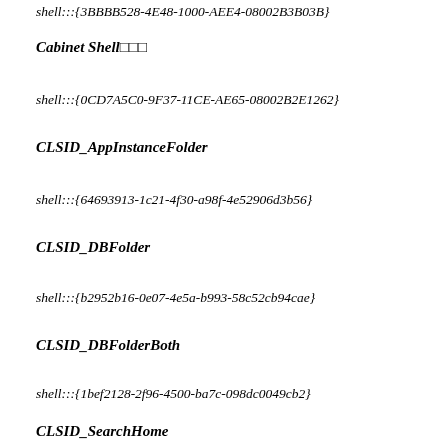shell:::{3BBBB528-4E48-1000-AEE4-08002B3B03B}
Cabinet Shell
shell:::{0CD7A5C0-9F37-11CE-AE65-08002B2E1262}
CLSID_AppInstanceFolder
shell:::{64693913-1c21-4f30-a98f-4e52906d3b56}
CLSID_DBFolder
shell:::{b2952b16-0e07-4e5a-b993-58c52cb94cae}
CLSID_DBFolderBoth
shell:::{1bef2128-2f96-4500-ba7c-098dc0049cb2}
CLSID_SearchHome